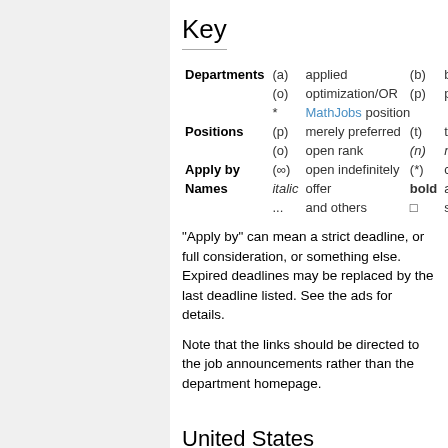Key
| Departments | (a) | applied | (b) | bi… |
|  | (o) | optimization/OR | (p) | ph… |
|  | * | MathJobs position |  |  |
| Positions | (p) | merely preferred | (t) | te… |
|  | (o) | open rank | (n) | n… |
| Apply by | (∞) | open indefinitely | (*) | cr… |
| Names | italic | offer | bold | ac… |
|  | ... | and others | □ | se… |
"Apply by" can mean a strict deadline, or full consideration, or something else. Expired deadlines may be replaced by the last deadline listed. See the ads for details.
Note that the links should be directed to the job announcements rather than the department homepage.
United States